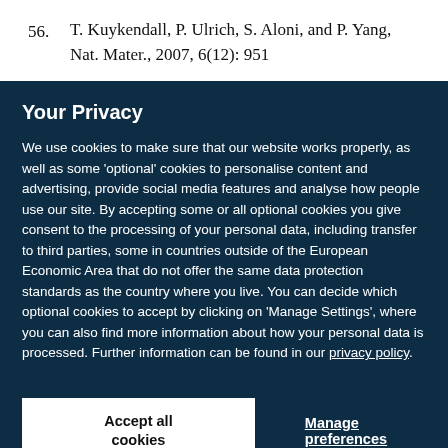56. T. Kuykendall, P. Ulrich, S. Aloni, and P. Yang, Nat. Mater., 2007, 6(12): 951
Your Privacy
We use cookies to make sure that our website works properly, as well as some 'optional' cookies to personalise content and advertising, provide social media features and analyse how people use our site. By accepting some or all optional cookies you give consent to the processing of your personal data, including transfer to third parties, some in countries outside of the European Economic Area that do not offer the same data protection standards as the country where you live. You can decide which optional cookies to accept by clicking on 'Manage Settings', where you can also find more information about how your personal data is processed. Further information can be found in our privacy policy.
Accept all cookies
Manage preferences